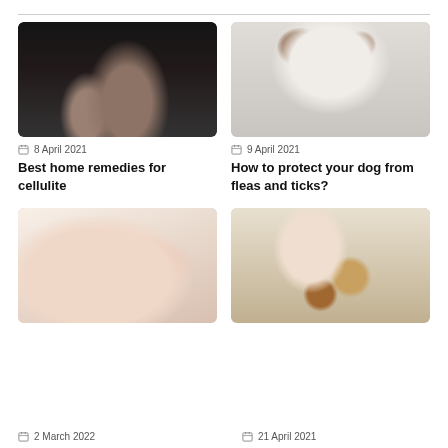[Figure (photo): Close-up of a person in dark clothing scratching or touching their arm/leg, cellulite-related photo]
8 April 2021
Best home remedies for cellulite
[Figure (photo): White and brown dog lying down looking at camera on a light background]
9 April 2021
How to protect your dog from fleas and ticks?
[Figure (photo): Close-up of manicured hands with pink/nude nails on a soft white background]
[Figure (photo): Young child playing with wooden building blocks at a table with a chair in the background]
2 March 2022
21 April 2021